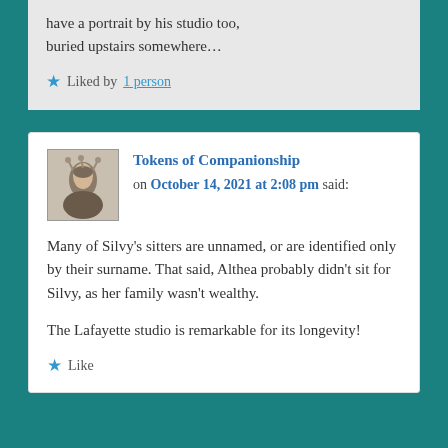have a portrait by his studio too, buried upstairs somewhere…
Liked by 1 person
[Figure (photo): Small avatar thumbnail of a historical engraving showing a figure in period costume]
Tokens of Companionship on October 14, 2021 at 2:08 pm said:
Many of Silvy's sitters are unnamed, or are identified only by their surname. That said, Althea probably didn't sit for Silvy, as her family wasn't wealthy.
The Lafayette studio is remarkable for its longevity!
Like